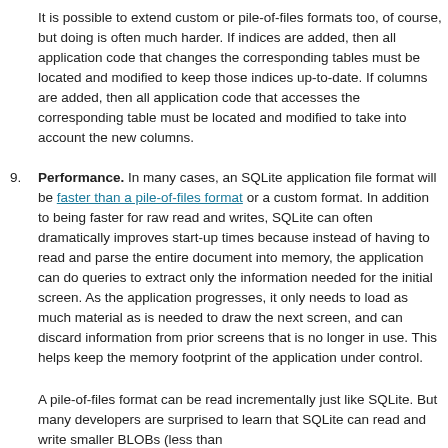It is possible to extend custom or pile-of-files formats too, of course, but doing is often much harder. If indices are added, then all application code that changes the corresponding tables must be located and modified to keep those indices up-to-date. If columns are added, then all application code that accesses the corresponding table must be located and modified to take into account the new columns.
9. Performance. In many cases, an SQLite application file format will be faster than a pile-of-files format or a custom format. In addition to being faster for raw read and writes, SQLite can often dramatically improves start-up times because instead of having to read and parse the entire document into memory, the application can do queries to extract only the information needed for the initial screen. As the application progresses, it only needs to load as much material as is needed to draw the next screen, and can discard information from prior screens that is no longer in use. This helps keep the memory footprint of the application under control.
A pile-of-files format can be read incrementally just like SQLite. But many developers are surprised to learn that SQLite can read and write smaller BLOBs (less than